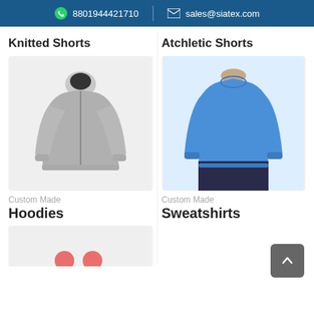8801944421710   sales@siatex.com
Knitted Shorts
Atchletic Shorts
[Figure (photo): Grey zip-up hoodie with black hood lining]
[Figure (photo): Person wearing a blue crew-neck sweatshirt]
Custom Made
Custom Made
Hoodies
Sweatshirts
[Figure (photo): Partial view of another product at bottom]